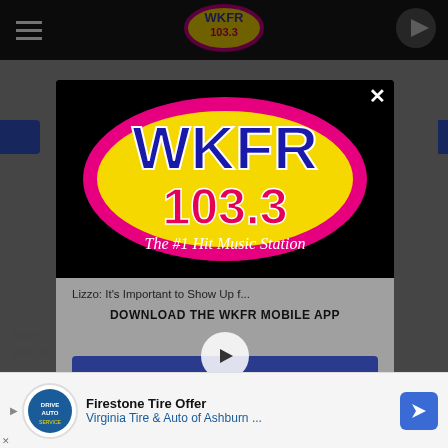[Figure (screenshot): WKFR 103.3 radio station website screenshot with a modal popup overlay showing the station logo, a download app prompt, and an Amazon Alexa integration section. The background shows a dimmed page with navigation bar. An ad banner for Firestone Tire Offer appears at the bottom.]
Lizzo: It's Important to Show Up f...
DOWNLOAD THE WKFR MOBILE APP
GET OUR FREE MOBILE APP
Also listen on:  amazon alexa
Firestone Tire Offer
Virginia Tire & Auto of Ashburn ...
those isn't enough as